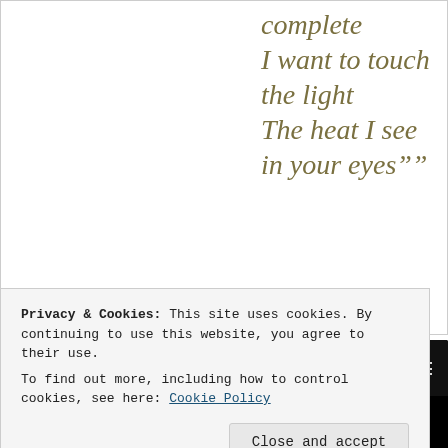complete I want to touch the light The heat I see in your eyes""
[Figure (screenshot): YouTube video thumbnail showing Peter Gabriel - In Your ... with dark avatar and black video area]
Privacy & Cookies: This site uses cookies. By continuing to use this website, you agree to their use.
To find out more, including how to control cookies, see here: Cookie Policy